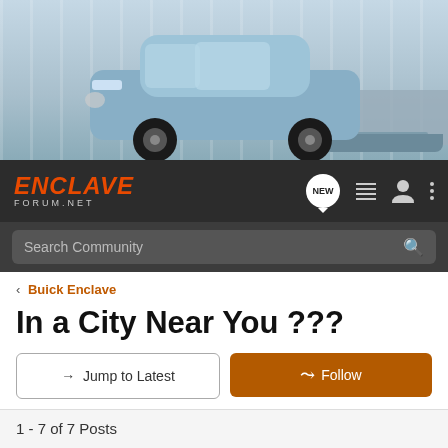[Figure (photo): Buick Enclave SUV towing a boat, motion blur background, header banner image]
ENCLAVE FORUM.NET
Search Community
Buick Enclave
In a City Near You ???
→ Jump to Latest
+ Follow
1 - 7 of 7 Posts
Gmoney_2010 · Registered
Joined Mar 26, 2007 · 1,302 Posts